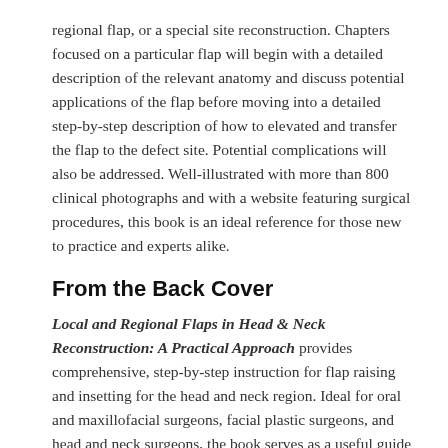regional flap, or a special site reconstruction. Chapters focused on a particular flap will begin with a detailed description of the relevant anatomy and discuss potential applications of the flap before moving into a detailed step-by-step description of how to elevated and transfer the flap to the defect site. Potential complications will also be addressed. Well-illustrated with more than 800 clinical photographs and with a website featuring surgical procedures, this book is an ideal reference for those new to practice and experts alike.
From the Back Cover
Local and Regional Flaps in Head & Neck Reconstruction: A Practical Approach provides comprehensive, step-by-step instruction for flap raising and insetting for the head and neck region. Ideal for oral and maxillofacial surgeons, facial plastic surgeons, and head and neck surgeons, the book serves as a useful guide to planning reconstructive cases and an easily accessible reference prior to operation.